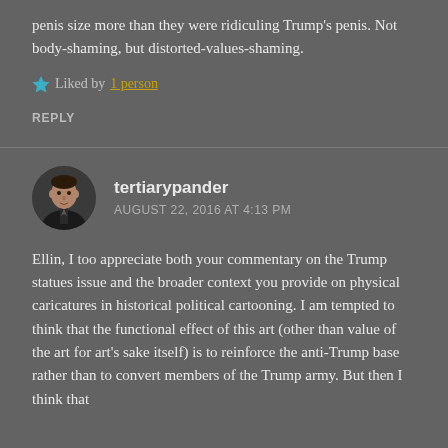penis size more than they were ridiculing Trump's penis. Not body-shaming, but distorted-values-shaming.
Liked by 1 person
REPLY
tertiarypander
AUGUST 22, 2016 AT 4:13 PM
Ellin, I too appreciate both your commentary on the Trump statues issue and the broader context you provide on physical caricatures in historical political cartooning. I am tempted to think that the functional effect of this art (other than value of the art for art's sake itself) is to reinforce the anti-Trump base rather than to convert members of the Trump army. But then I think that